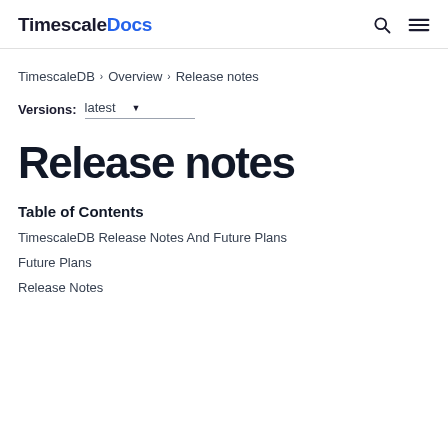TimescaleDocs
TimescaleDB > Overview > Release notes
Versions: latest
Release notes
Table of Contents
TimescaleDB Release Notes And Future Plans
Future Plans
Release Notes